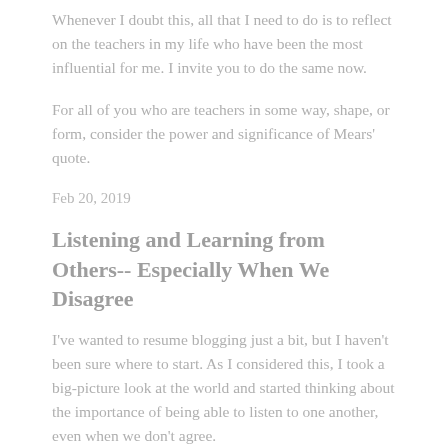Whenever I doubt this, all that I need to do is to reflect on the teachers in my life who have been the most influential for me. I invite you to do the same now.
For all of you who are teachers in some way, shape, or form, consider the power and significance of Mears' quote.
Feb 20, 2019
Listening and Learning from Others-- Especially When We Disagree
I've wanted to resume blogging just a bit, but I haven't been sure where to start. As I considered this, I took a big-picture look at the world and started thinking about the importance of being able to listen to one another, even when we don't agree.